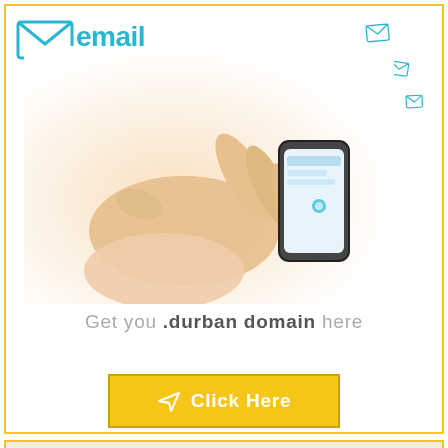[Figure (illustration): Top advertisement box with gold border. Contains email logo (envelope icon with 'email' text in blue/cyan), a photo of hands using a smartphone with floating envelope icons, the tagline 'Get you .durban domain here', and a yellow 'Click Here' button with arrow icon.]
Get you .durban domain here
Click Here
[Figure (photo): Bottom advertisement box with gold border. Shows a person holding a small green plant/earth, with the word 'earth' in green text on the right side.]